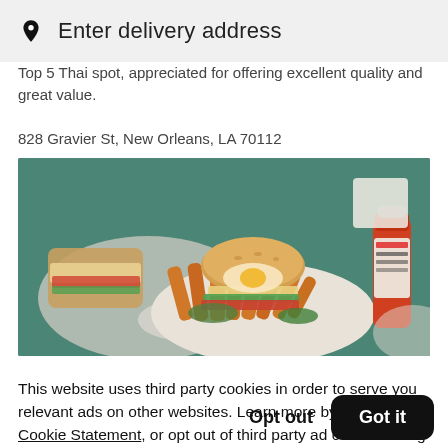Enter delivery address
Top 5 Thai spot, appreciated for offering excellent quality and great value.
828 Gravier St, New Orleans, LA 70112
[Figure (photo): Food photo showing a plate with a burger, sweet potato fries, and vegetables on a teal/green table, with a hot sauce bottle on the right side]
This website uses third party cookies in order to serve you relevant ads on other websites. Learn more by visiting our Cookie Statement, or opt out of third party ad cookies using the button below.
Opt out
Got it